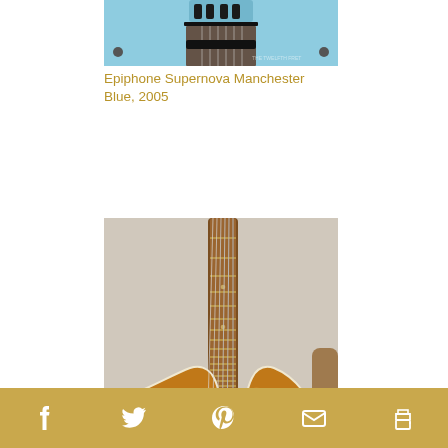[Figure (photo): Cropped top portion of a light blue Epiphone Supernova semi-hollow electric guitar showing headstock and tuning machines]
Epiphone Supernova Manchester Blue, 2005
[Figure (photo): Guild X150 Savoy Cutaway Single Pickup Archtop Electric guitar in sunburst finish, 1961, showing body and neck with f-holes]
✗SOLD ✗Guild X150 Savoy Cutaway Single Pickup Archtop Electric Sunburst, 1961
[Figure (photo): Partial view of a third guitar at bottom of page]
Social sharing icons: Facebook, Twitter, Pinterest, Email, Print